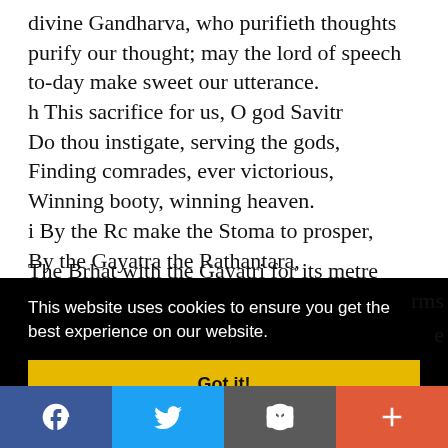divine Gandharva, who purifieth thoughts purify our thought; may the lord of speech to-day make sweet our utterance.
h This sacrifice for us, O god Savitr
Do thou instigate, serving the gods,
Finding comrades, ever victorious,
Winning booty, winning heaven.
i By the Rc make the Stoma to prosper,
By the Gayatra the Rathantara,
The Brhat with the Gayatri for its metre
This website uses cookies to ensure you get the best experience on our website.
Got it!